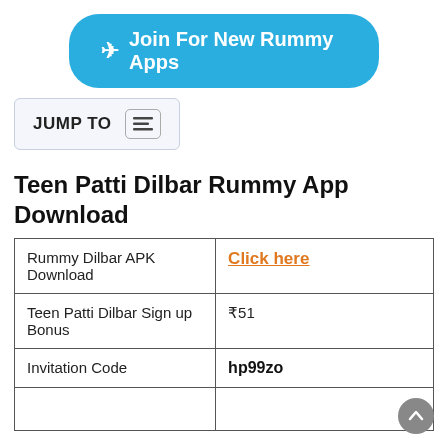[Figure (other): A cyan/blue rounded button with a paper plane icon and text 'Join For New Rummy Apps']
[Figure (other): A 'JUMP TO' box with a text/list icon button]
Teen Patti Dilbar Rummy App Download
| Rummy Dilbar APK Download | Click here |
| Teen Patti Dilbar Sign up Bonus | ₹51 |
| Invitation Code | hp99zo |